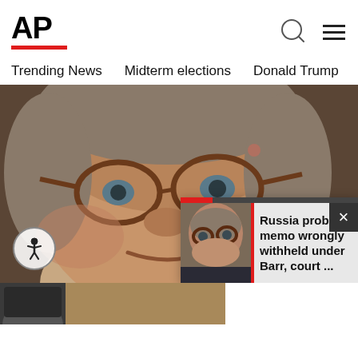[Figure (logo): AP (Associated Press) logo in bold black text with red underline]
Trending News   Midterm elections   Donald Trump   Russia-Ukr
[Figure (photo): Close-up photo of William Barr wearing round tortoiseshell glasses, looking forward]
[Figure (photo): Small thumbnail popup image of William Barr with serious expression]
Russia probe memo wrongly withheld under Barr, court ...
[Figure (photo): Partially visible bottom thumbnail image]